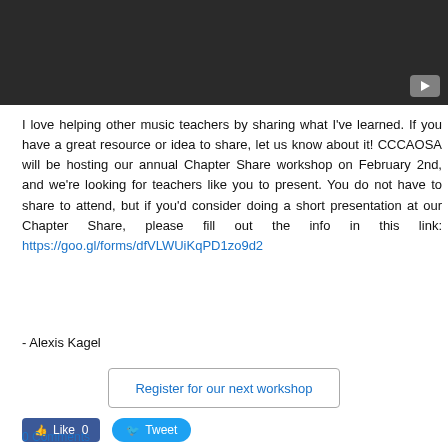[Figure (screenshot): Dark video player placeholder with YouTube play button icon in bottom-right corner]
I love helping other music teachers by sharing what I've learned. If you have a great resource or idea to share, let us know about it! CCCAOSA will be hosting our annual Chapter Share workshop on February 2nd, and we're looking for teachers like you to present. You do not have to share to attend, but if you'd consider doing a short presentation at our Chapter Share, please fill out the info in this link: https://goo.gl/forms/dfVLWUiKqPD1zo9d2
- Alexis Kagel
Register for our next workshop
Like 0
Tweet
0 Comments